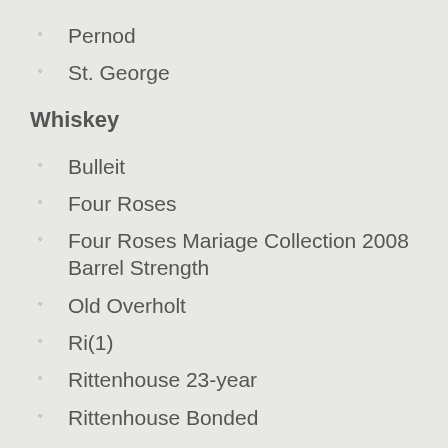Pernod
St. George
Whiskey
Bulleit
Four Roses
Four Roses Mariage Collection 2008 Barrel Strength
Old Overholt
Ri(1)
Rittenhouse 23-year
Rittenhouse Bonded
Sazerac 6-year
Scotch / Irish